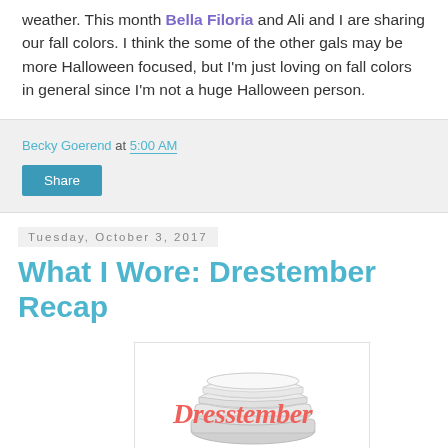weather. This month Bella Filoria and Ali and I are sharing our fall colors. I think the some of the other gals may be more Halloween focused, but I'm just loving on fall colors in general since I'm not a huge Halloween person.
Becky Goerend at 5:00 AM
Share
Tuesday, October 3, 2017
What I Wore: Drestember Recap
[Figure (illustration): Drestember Clothing Challenge logo with stacked folded clothes illustration and cursive red text 'Dresstember' and bold text 'Clothing Challenge' below]